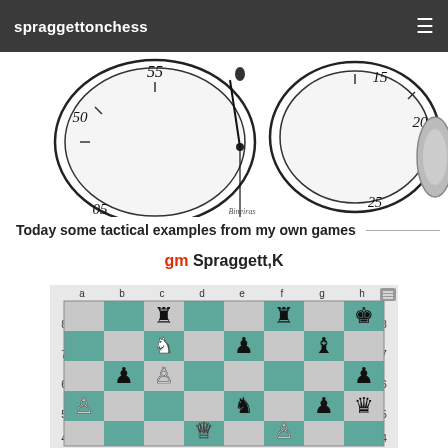spraggettonchess
[Figure (illustration): Black and white sketch of a chess clock showing two clock faces with hands and numbers]
Today some tactical examples from my own games
gm Spraggett,K
[Figure (illustration): Chess board diagram showing a position with pieces: black rook on c8, black rook on f8, black king on h8, white knight on c7, black pawn on e7, black bishop on g7, black pawn on b6, white pawn on c6, black pawn on h6, white pawn on a5, black knight on e5, black pawn on g5, black queen on h5, white queen on d4, white pawn on f4. Coordinates a-h on top and numbers 4-8 on sides.]